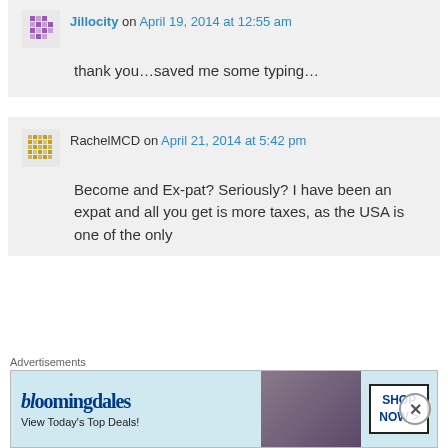Jillocity on April 19, 2014 at 12:55 am
thank you…saved me some typing…
RachelMCD on April 21, 2014 at 5:42 pm
Become and Ex-pat? Seriously? I have been an expat and all you get is more taxes, as the USA is one of the only
Advertisements
[Figure (other): Bloomingdale's advertisement banner reading 'View Today's Top Deals!' with SHOP NOW > button and photo of woman in hat]